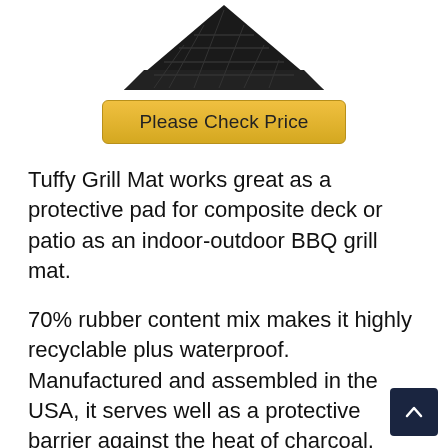[Figure (photo): Partial view of a black Tuffy Grill Mat product shown from above at an angle, cropped at the top of the page.]
Please Check Price
Tuffy Grill Mat works great as a protective pad for composite deck or patio as an indoor-outdoor BBQ grill mat.
70% rubber content mix makes it highly recyclable plus waterproof. Manufactured and assembled in the USA, it serves well as a protective barrier against the heat of charcoal, wood pallet, gas, or electricity up to 500 degree F.